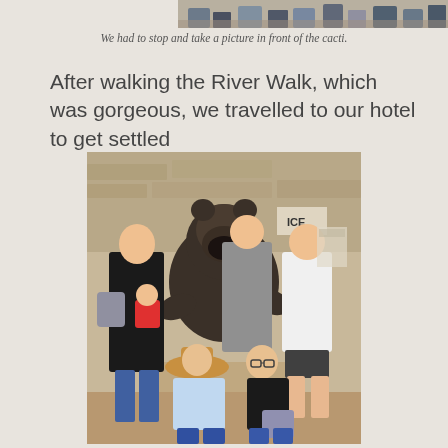[Figure (photo): Partial top of a photo showing people standing in front of cacti, only the lower portion (legs/feet) visible at top of page.]
We had to stop and take a picture in front of the cacti.
After walking the River Walk, which was gorgeous, we travelled to our hotel to get settled
[Figure (photo): Group photo of five women and a baby posing around a large bronze bear statue. The woman on the left holds a baby, a woman in a cowboy hat sits in front, another woman with glasses sits beside her, and two women stand in the back. Background shows a stone wall exterior.]